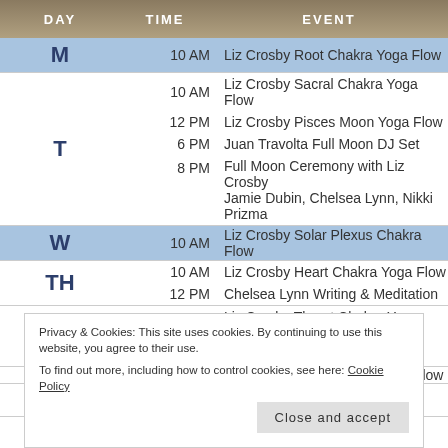| DAY | TIME | EVENT |
| --- | --- | --- |
| M | 10 AM | Liz Crosby Root Chakra Yoga Flow |
| T | 10 AM | Liz Crosby Sacral Chakra Yoga Flow |
| T | 12 PM | Liz Crosby Pisces Moon Yoga Flow |
| T | 6 PM | Juan Travolta Full Moon DJ Set |
| T | 8 PM | Full Moon Ceremony with Liz Crosby
Jamie Dubin, Chelsea Lynn, Nikki Prizma |
| W | 10 AM | Liz Crosby Solar Plexus Chakra Flow |
| TH | 10 AM | Liz Crosby Heart Chakra Yoga Flow |
| TH | 12 PM | Chelsea Lynn Writing & Meditation |
| F | 10 AM | Liz Crosby Throat Chakra Yoga Flow |
| F | 4 PM | Jamie Dubin Sound Healing |
|  | 10 AM | Liz Crosby Brow Chakra Yoga Flow |
|  | 2 PM | Burn the Man Within Drum Meditation |
Privacy & Cookies: This site uses cookies. By continuing to use this website, you agree to their use.
To find out more, including how to control cookies, see here: Cookie Policy